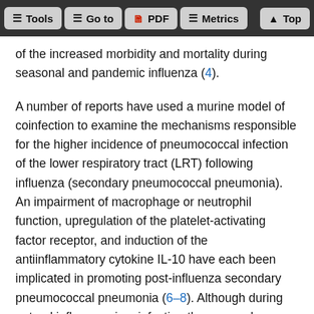Tools  Go to  PDF  Metrics  Top
of the increased morbidity and mortality during seasonal and pandemic influenza (4).
A number of reports have used a murine model of coinfection to examine the mechanisms responsible for the higher incidence of pneumococcal infection of the lower respiratory tract (LRT) following influenza (secondary pneumococcal pneumonia). An impairment of macrophage or neutrophil function, upregulation of the platelet-activating factor receptor, and induction of the antiinflammatory cytokine IL-10 have each been implicated in promoting post-influenza secondary pneumococcal pneumonia (6–8). Although during natural influenza virus infection the mucosal surfaces of the URT are a prominent site of viral replication, these studies have relied on